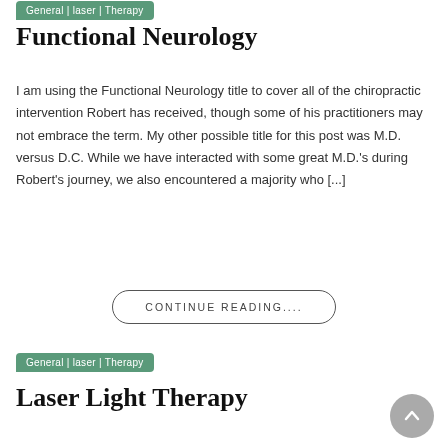General | laser | Therapy
Functional Neurology
I am using the Functional Neurology title to cover all of the chiropractic intervention Robert has received, though some of his practitioners may not embrace the term. My other possible title for this post was M.D. versus D.C. While we have interacted with some great M.D.'s during Robert's journey, we also encountered a majority who [...]
CONTINUE READING....
General | laser | Therapy
Laser Light Therapy